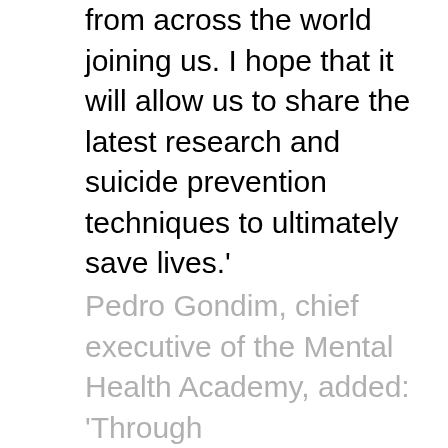from across the world joining us. I hope that it will allow us to share the latest research and suicide prevention techniques to ultimately save lives.'
Pedro Gondim, chief executive of the Mental Health Academy, added: 'Through